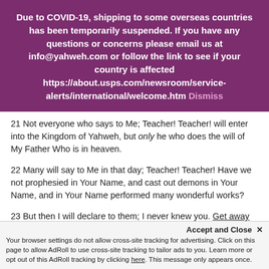Due to COVID-19, shipping to some overseas countries has been temporarily suspended. If you have any questions or concerns please email us at info@yahweh.com or follow the link to see if your country is affected https://about.usps.com/newsroom/service-alerts/international/welcome.htm Dismiss
21 Not everyone who says to Me; Teacher! Teacher! will enter into the Kingdom of Yahweh, but only he who does the will of My Father Who is in heaven.
22 Many will say to Me in that day; Teacher! Teacher! Have we not prophesied in Your Name, and cast out demons in Your Name, and in Your Name performed many wonderful works?
23 But then I will declare to them; I never knew you. Get away from Me, you who practice iniquity.
Accept and Close ✕ Your browser settings do not allow cross-site tracking for advertising. Click on this page to allow AdRoll to use cross-site tracking to tailor ads to you. Learn more or opt out of this AdRoll tracking by clicking here. This message only appears once.